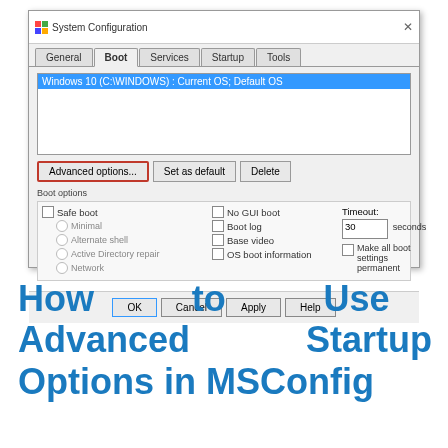[Figure (screenshot): Windows System Configuration dialog showing the Boot tab. A list box shows 'Windows 10 (C:\WINDOWS) : Current OS; Default OS' highlighted in blue. Below are three buttons: 'Advanced options...' (circled in red), 'Set as default', and 'Delete'. Boot options section shows checkboxes for Safe boot, No GUI boot, Boot log, Base video, OS boot information, radio buttons for Minimal, Alternate shell, Active Directory repair, Network. Timeout field shows 30 seconds. Checkbox for 'Make all boot settings permanent'. Bottom row has OK, Cancel, Apply, Help buttons.]
How to Use Advanced Startup Options in MSConfig